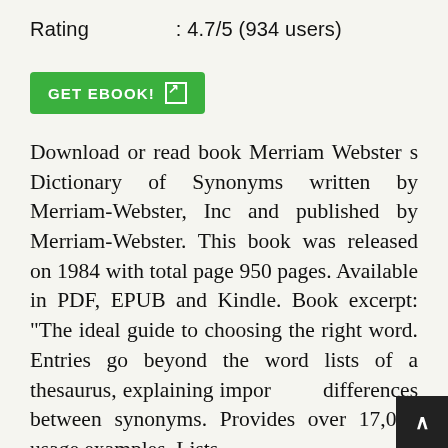Rating : 4.7/5 (934 users)
[Figure (other): Green GET EBOOK! button with arrow icon]
Download or read book Merriam Webster s Dictionary of Synonyms written by Merriam-Webster, Inc and published by Merriam-Webster. This book was released on 1984 with total page 950 pages. Available in PDF, EPUB and Kindle. Book excerpt: "The ideal guide to choosing the right word. Entries go beyond the word lists of a thesaurus, explaining important differences between synonyms. Provides over 17,000 usage examples. Lists